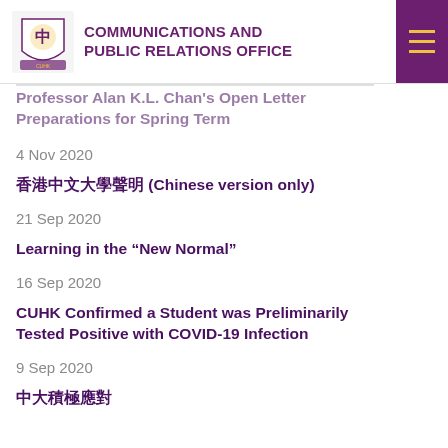COMMUNICATIONS AND PUBLIC RELATIONS OFFICE
Professor Alan K.L. Chan's Open Letter Preparations for Spring Term
4 Nov 2020
香港中文大學聲明 (Chinese version only)
21 Sep 2020
Learning in the “New Normal”
16 Sep 2020
CUHK Confirmed a Student was Preliminarily Tested Positive with COVID-19 Infection
9 Sep 2020
中大積極應對...